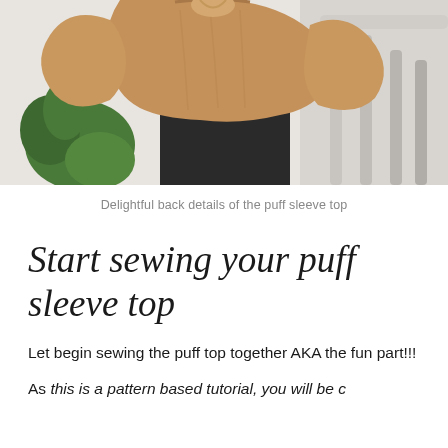[Figure (photo): Back view of a person wearing a tan/caramel linen puff sleeve top, standing near a staircase railing with a green plant visible in the background.]
Delightful back details of the puff sleeve top
Start sewing your puff sleeve top
Let begin sewing the puff top together AKA the fun part!!!
As this is a pattern based tutorial, you will be c...